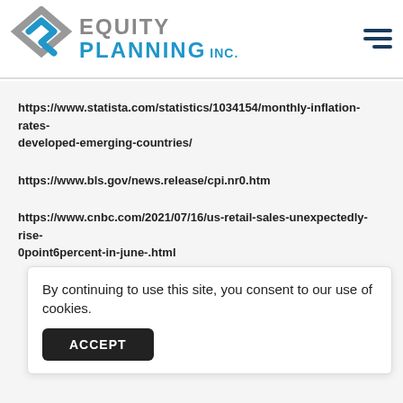[Figure (logo): Equity Planning Inc. logo with geometric diamond/arrow icon in gray and blue, followed by 'EQUITY PLANNING INC.' text]
https://www.statista.com/statistics/1034154/monthly-inflation-rates-developed-emerging-countries/
https://www.bls.gov/news.release/cpi.nr0.htm
https://www.cnbc.com/2021/07/16/us-retail-sales-unexpectedly-rise-0point6percent-in-june-.html
By continuing to use this site, you consent to our use of cookies.
ACCEPT